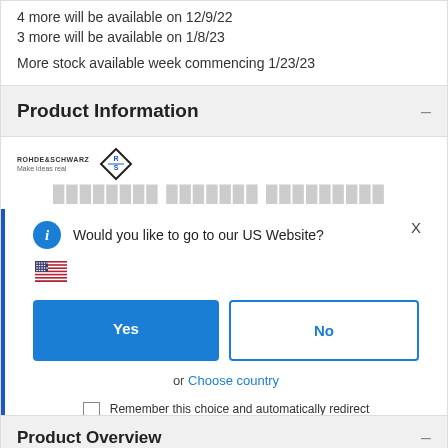4 more will be available on 12/9/22
3 more will be available on 1/8/23
More stock available week commencing 1/23/23
Product Information
[Figure (screenshot): Rohde & Schwarz logo with diamond RS symbol and tagline 'Make ideas real']
Would you like to go to our US Website?
[Figure (illustration): US flag emoji]
Yes
No
or  Choose country
Remember this choice and automatically redirect me in the future
Product Overview